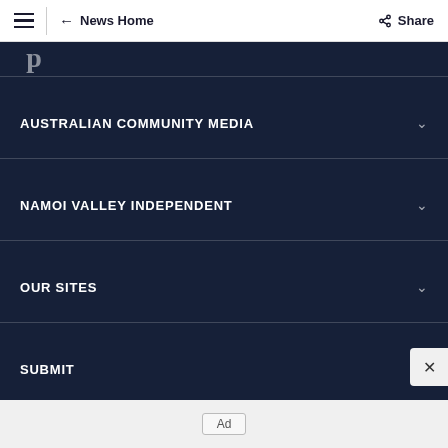News Home | Share
AUSTRALIAN COMMUNITY MEDIA
NAMOI VALLEY INDEPENDENT
OUR SITES
SUBMIT
Ad